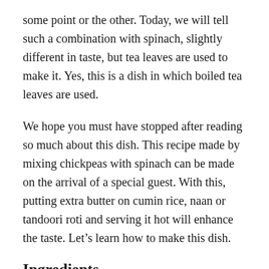some point or the other. Today, we will tell such a combination with spinach, slightly different in taste, but tea leaves are used to make it. Yes, this is a dish in which boiled tea leaves are used.
We hope you must have stopped after reading so much about this dish. This recipe made by mixing chickpeas with spinach can be made on the arrival of a special guest. With this, putting extra butter on cumin rice, naan or tandoori roti and serving it hot will enhance the taste. Let’s learn how to make this dish.
Ingredients
1. Chole – 2 bowls (soaked overnight)